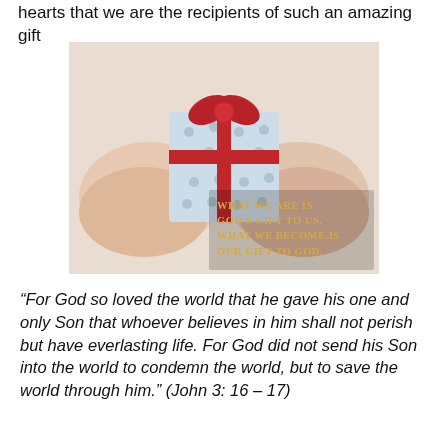hearts that we are the recipients of such an amazing gift
[Figure (photo): Two hands holding a small gift box wrapped in light blue polka-dot paper with a red ribbon bow. Overlaid text reads: 'What we are is God's gift to us. What we become is our gift to God.']
“For God so loved the world that he gave his one and only Son that whoever believes in him shall not perish but have everlasting life. For God did not send his Son into the world to condemn the world, but to save the world through him.” (John 3: 16 – 17)